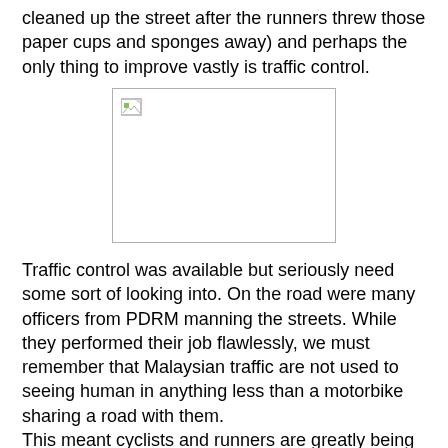cleaned up the street after the runners threw those paper cups and sponges away) and perhaps the only thing to improve vastly is traffic control.
[Figure (photo): A placeholder image box with a broken image icon in the upper-left corner, representing a missing photograph.]
Traffic control was available but seriously need some sort of looking into. On the road were many officers from PDRM manning the streets. While they performed their job flawlessly, we must remember that Malaysian traffic are not used to seeing human in anything less than a motorbike sharing a road with them.
This meant cyclists and runners are greatly being taken for granted when they use the public road.